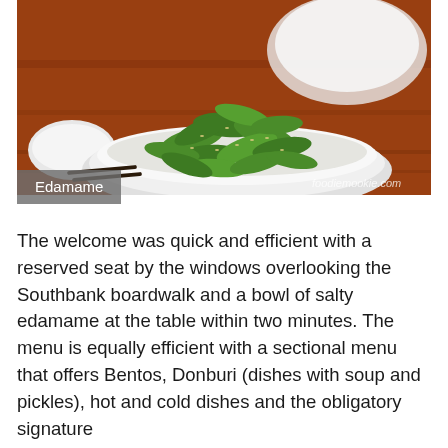[Figure (photo): A white bowl filled with edamame (green soybean pods) sprinkled with sesame seeds, placed on a wooden table with chopsticks and another white bowl in the background. Watermark reads 'foodiemookie.com'.]
Edamame
The welcome was quick and efficient with a reserved seat by the windows overlooking the Southbank boardwalk and a bowl of salty edamame at the table within two minutes. The menu is equally efficient with a sectional menu that offers Bentos, Donburi (dishes with soup and pickles), hot and cold dishes and the obligatory signature